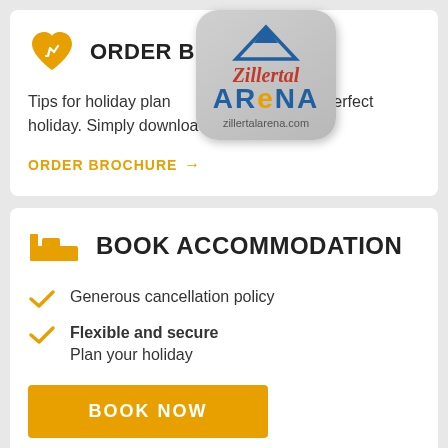ORDER BROCHURE
Tips for holiday planning and tips for your perfect holiday. Simply download or order.
ORDER BROCHURE →
[Figure (logo): Zillertal Arena logo with mountain graphic and zillertalarena.com URL]
BOOK ACCOMMODATION
Generous cancellation policy
Flexible and secure – Plan your holiday
BOOK NOW
Book accommodation